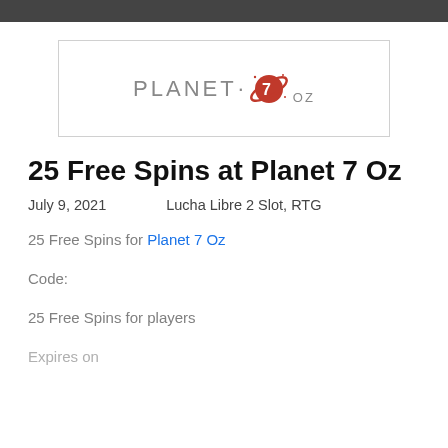[Figure (logo): Planet 7 Oz casino logo with red planet/mascot icon, text reads PLANET OZ]
25 Free Spins at Planet 7 Oz
July 9, 2021    Lucha Libre 2 Slot, RTG
25 Free Spins for Planet 7 Oz
Code:
25 Free Spins for players
Expires on